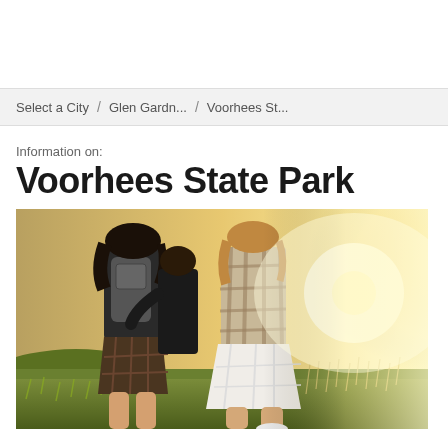Select a City / Glen Gardn... / Voorhees St...
Information on:
Voorhees State Park
[Figure (photo): Three young women walking through a grassy field in warm golden sunlight, seen from behind. They are wearing casual summer clothes with plaid patterns.]